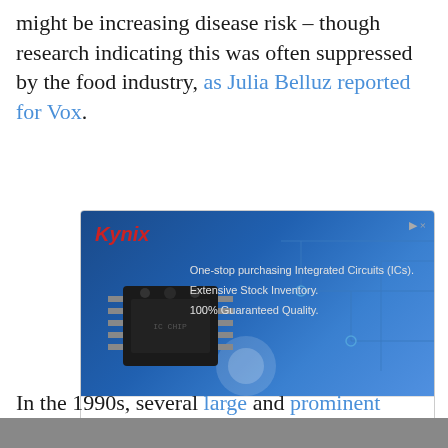might be increasing disease risk – though research indicating this was often suppressed by the food industry, as Julia Belluz reported for Vox.
[Figure (other): Kynix advertisement banner showing an integrated circuit chip on a blue circuit board background with text: 'One-stop purchasing Integrated Circuits (ICs). Extensive Stock Inventory. 100% Guaranteed Quality.' with navigation arrows below.]
In the 1990s, several large and prominent studies